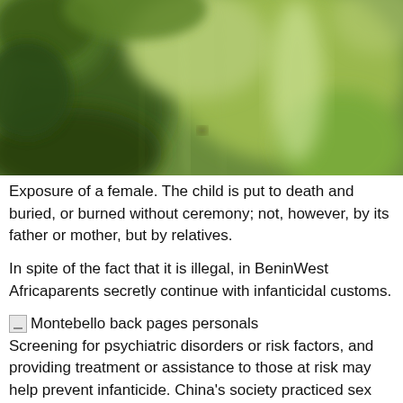[Figure (photo): Blurred close-up photograph of green foliage and plants with bokeh effect]
Exposure of a female. The child is put to death and buried, or burned without ceremony; not, however, by its father or mother, but by relatives.
In spite of the fact that it is illegal, in BeninWest Africaparents secretly continue with infanticidal customs.
Montebello back pages personals Screening for psychiatric disorders or risk factors, and providing treatment or assistance to those at risk may help prevent infanticide. China's society practiced sex selective